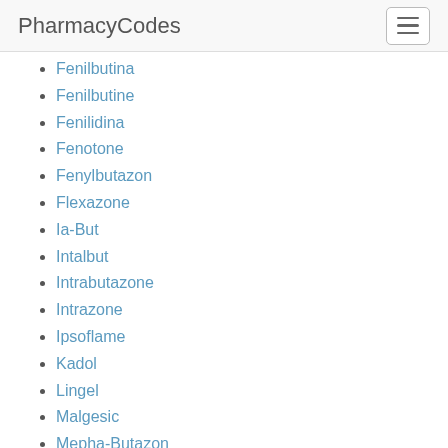PharmacyCodes
Fenilbutina
Fenilbutine
Fenilidina
Fenotone
Fenylbutazon
Flexazone
Ia-But
Intalbut
Intrabutazone
Intrazone
Ipsoflame
Kadol
Lingel
Malgesic
Mepha-Butazon
Mephabutazon
Mephabutazone
Merizone
Nadazone
Nadozone